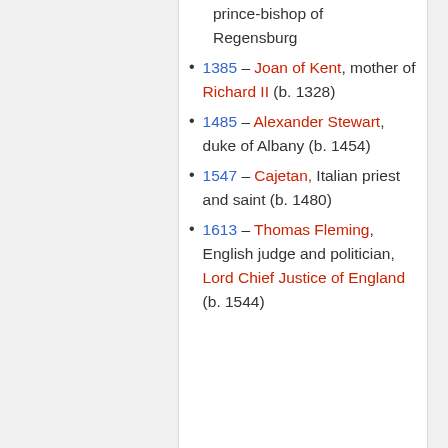prince-bishop of Regensburg
1385 – Joan of Kent, mother of Richard II (b. 1328)
1485 – Alexander Stewart, duke of Albany (b. 1454)
1547 – Cajetan, Italian priest and saint (b. 1480)
1613 – Thomas Fleming, English judge and politician, Lord Chief Justice of England (b. 1544)